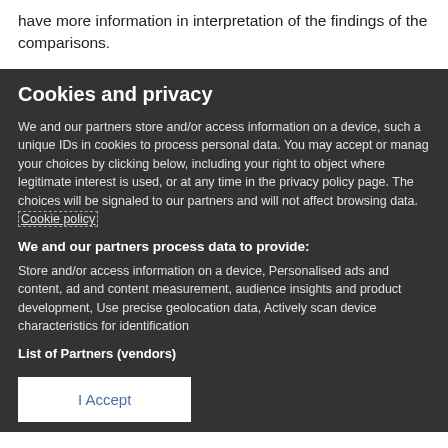have more information in interpretation of the findings of the comparisons.
Cookies and privacy
We and our partners store and/or access information on a device, such a unique IDs in cookies to process personal data. You may accept or manag your choices by clicking below, including your right to object where legitimate interest is used, or at any time in the privacy policy page. The choices will be signaled to our partners and will not affect browsing data. Cookie policy
We and our partners process data to provide:
Store and/or access information on a device, Personalised ads and content, ad and content measurement, audience insights and product development, Use precise geolocation data, Actively scan device characteristics for identification
List of Partners (vendors)
I Accept